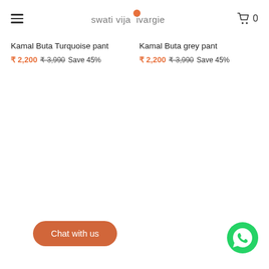swati vijaivargie  0
Kamal Buta Turquoise pant
₹ 2,200  ₹ 3,990  Save 45%
Kamal Buta grey pant
₹ 2,200  ₹ 3,990  Save 45%
Chat with us